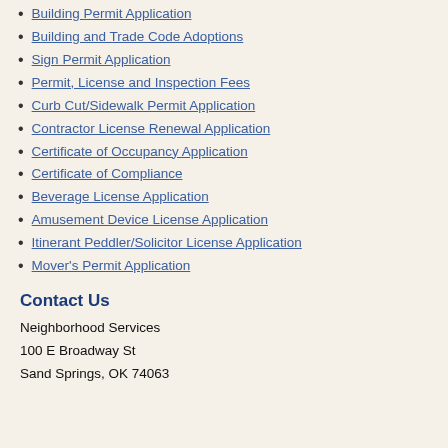Building Permit Application
Building and Trade Code Adoptions
Sign Permit Application
Permit, License and Inspection Fees
Curb Cut/Sidewalk Permit Application
Contractor License Renewal Application
Certificate of Occupancy Application
Certificate of Compliance
Beverage License Application
Amusement Device License Application
Itinerant Peddler/Solicitor License Application
Mover's Permit Application
Contact Us
Neighborhood Services
100 E Broadway St
Sand Springs, OK 74063